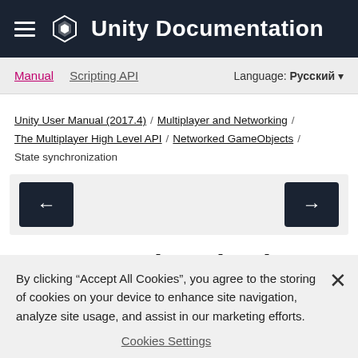Unity Documentation
Manual  Scripting API  Language: Русский
Unity User Manual (2017.4) / Multiplayer and Networking / The Multiplayer High Level API / Networked GameObjects / State synchronization
[Figure (other): Navigation previous and next arrow buttons]
State synchronization
By clicking "Accept All Cookies", you agree to the storing of cookies on your device to enhance site navigation, analyze site usage, and assist in our marketing efforts.
Cookies Settings